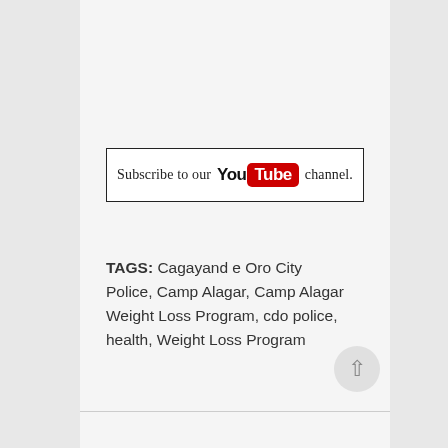[Figure (logo): Subscribe to our YouTube channel banner with YouTube logo inside a bordered rectangle]
TAGS: Cagayand e Oro City Police, Camp Alagar, Camp Alagar Weight Loss Program, cdo police, health, Weight Loss Program